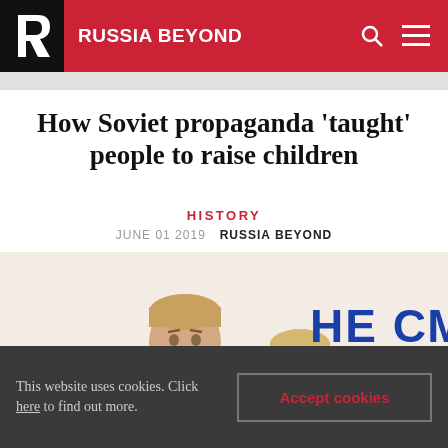RUSSIA BEYOND
How Soviet propaganda 'taught' people to raise children
HISTORY
JUNE 01 2019  RUSSIA BEYOND
[Figure (illustration): Soviet propaganda poster showing two boys, one older with a red kerchief looking stern, one younger looking up. Bold blue Cyrillic text reads НЕ СМЕЙ (Don't you dare).]
This website uses cookies. Click here to find out more.